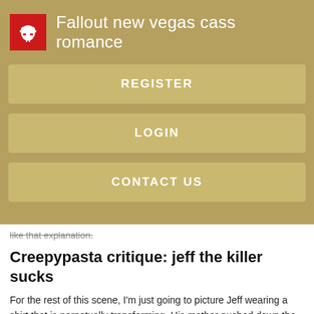[Figure (logo): Red square logo with white elephant silhouette icon]
Fallout new vegas cass romance
REGISTER
LOGIN
CONTACT US
like that explanation.
Creepypasta critique: jeff the killer sucks
For the rest of this scene, I'm just going to picture Jeff wearing a shirt that is perpetually transforming. His mother pushed down the feeling to yell at him and hid it with a smile.
[Figure (illustration): Dark silhouette illustration of a figure, partially visible at bottom of page]